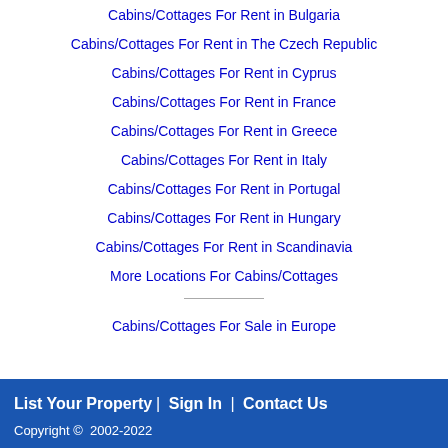Cabins/Cottages For Rent in Bulgaria
Cabins/Cottages For Rent in The Czech Republic
Cabins/Cottages For Rent in Cyprus
Cabins/Cottages For Rent in France
Cabins/Cottages For Rent in Greece
Cabins/Cottages For Rent in Italy
Cabins/Cottages For Rent in Portugal
Cabins/Cottages For Rent in Hungary
Cabins/Cottages For Rent in Scandinavia
More Locations For Cabins/Cottages
Cabins/Cottages For Sale in Europe
List Your Property  |  Sign In  |  Contact Us
Copyright ©  2002-2022